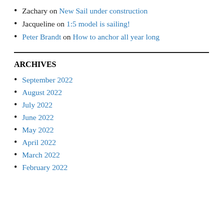Zachary on New Sail under construction
Jacqueline on 1:5 model is sailing!
Peter Brandt on How to anchor all year long
ARCHIVES
September 2022
August 2022
July 2022
June 2022
May 2022
April 2022
March 2022
February 2022